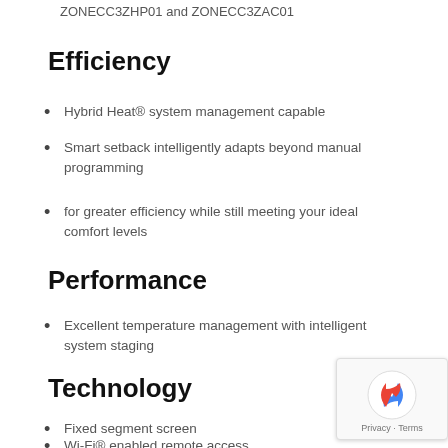ZONECC3ZHP01 and ZONECC3ZAC01
Efficiency
Hybrid Heat® system management capable
Smart setback intelligently adapts beyond manual programming
for greater efficiency while still meeting your ideal comfort levels
Performance
Excellent temperature management with intelligent system staging
Technology
Fixed segment screen
Wi-Fi® enabled remote access